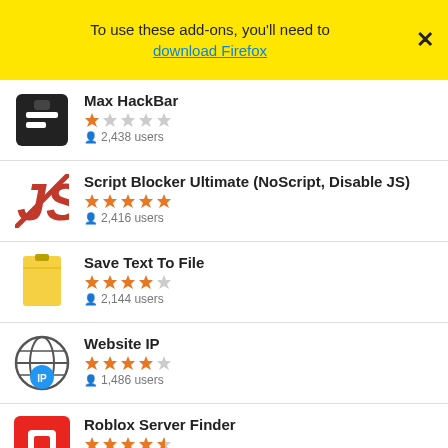To use these add-ons, you'll need to download Firefox
Max HackBar — 2 stars — 2,438 users
Script Blocker Ultimate (NoScript, Disable JS) — 5 stars — 2,416 users
Save Text To File — 4 stars — 2,144 users
Website IP — 4 stars — 1,486 users
Roblox Server Finder — 4.5 stars — 1,456 users
GitHub Dark Theme